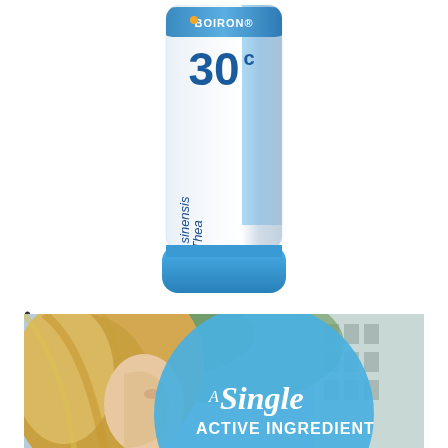[Figure (photo): Boiron homeopathic medicine tube labeled 'Thea sinensis 30c', white tube with blue stripe and Boiron logo, shown at an angle]
•
[Figure (photo): Close-up photo of a blonde woman's profile against an urban/outdoor background with a large blue circle overlay containing the text 'A Single ACTIVE INGREDIENT']